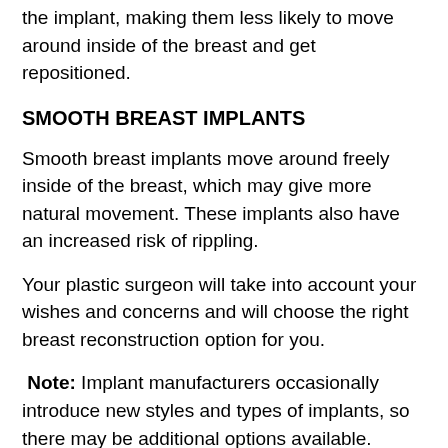the implant, making them less likely to move around inside of the breast and get repositioned.
SMOOTH BREAST IMPLANTS
Smooth breast implants move around freely inside of the breast, which may give more natural movement. These implants also have an increased risk of rippling.
Your plastic surgeon will take into account your wishes and concerns and will choose the right breast reconstruction option for you.
Note: Implant manufacturers occasionally introduce new styles and types of implants, so there may be additional options available. Whether you choose saline or silicone implants, it is important for you to monitor your breast implants and follow up with your plastic surgeon for